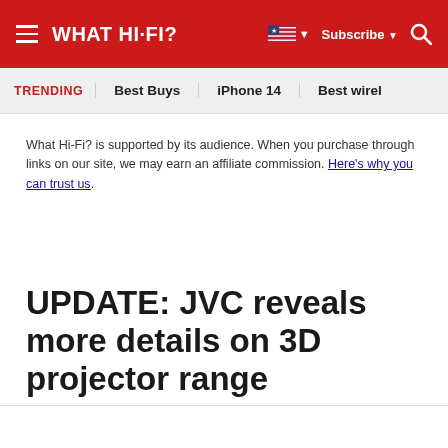WHAT HI-FI?
TRENDING   Best Buys   iPhone 14   Best wirel
What Hi-Fi? is supported by its audience. When you purchase through links on our site, we may earn an affiliate commission. Here's why you can trust us.
UPDATE: JVC reveals more details on 3D projector range